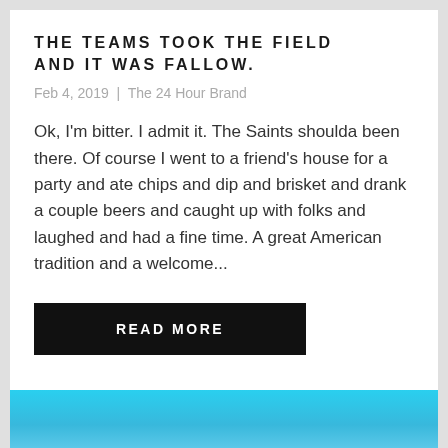THE TEAMS TOOK THE FIELD AND IT WAS FALLOW.
Feb 4, 2019  |  The 24 Hour Brand
Ok, I'm bitter. I admit it. The Saints shoulda been there. Of course I went to a friend's house for a party and ate chips and dip and brisket and drank a couple beers and caught up with folks and laughed and had a fine time. A great American tradition and a welcome...
READ MORE
[Figure (illustration): Teal/cyan gradient background section at the bottom of the page]